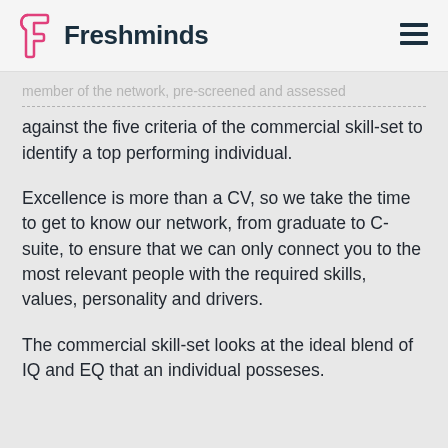Freshminds
member of the network, pre-screened and assessed against the five criteria of the commercial skill-set to identify a top performing individual.
Excellence is more than a CV, so we take the time to get to know our network, from graduate to C-suite, to ensure that we can only connect you to the most relevant people with the required skills, values, personality and drivers.
The commercial skill-set looks at the ideal blend of IQ and EQ that an individual posseses.